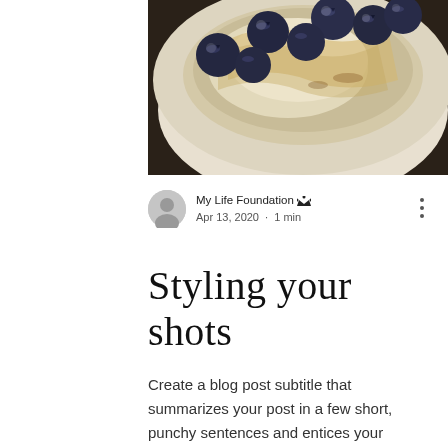[Figure (photo): Close-up photo of a bowl with blueberries and what appears to be cream or yogurt on a dark wood surface]
My Life Foundation 👑
Apr 13, 2020 · 1 min
Styling your shots
Create a blog post subtitle that summarizes your post in a few short, punchy sentences and entices your audience to continue reading. Welcome to your blog post. Use this space to connect with your readers and